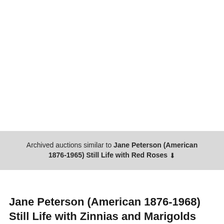Archived auctions similar to Jane Peterson (American 1876-1965) Still Life with Red Roses ↓
Show as gallery
Jane Peterson (American 1876-1968) Still Life with Zinnias and Marigolds